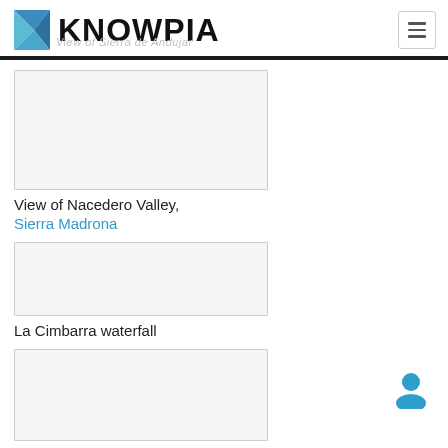KNOWPIA
[Figure (photo): Placeholder image box (top), gray rectangle]
View of Nacedero Valley, Sierra Madrona
[Figure (photo): Placeholder image box (middle), gray rectangle]
La Cimbarra waterfall
[Figure (photo): Placeholder image box (bottom), gray rectangle]